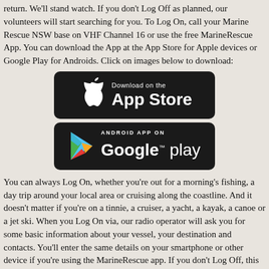return. We'll stand watch. If you don't Log Off as planned, our volunteers will start searching for you. To Log On, call your Marine Rescue NSW base on VHF Channel 16 or use the free MarineRescue App. You can download the App at the App Store for Apple devices or Google Play for Androids. Click on images below to download:
[Figure (screenshot): Apple App Store download badge - black rounded rectangle with Apple logo and 'Download on the App Store' text in white]
[Figure (screenshot): Google Play download badge - black rounded rectangle with Google Play triangle logo and 'ANDROID APP ON Google play' text in white]
You can always Log On, whether you're out for a morning's fishing, a day trip around your local area or cruising along the coastline. And it doesn't matter if you're on a tinnie, a cruiser, a yacht, a kayak, a canoe or a jet ski. When you Log On via, our radio operator will ask you for some basic information about your vessel, your destination and contacts. You'll enter the same details on your smartphone or other device if you're using the MarineRescue app. If you don't Log Off, this information will help us find you, whether you've simply forgotten to Log Off when you returned to shore or you're caught in an